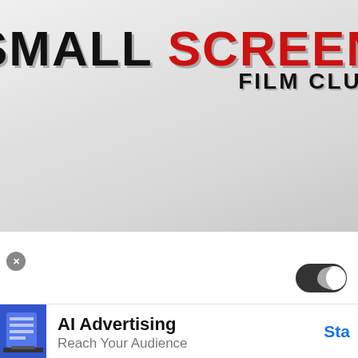[Figure (logo): Small Screen Film Club logo on a light grey gradient background. 'SMALL' in bold black text, 'SCREEN' in bold red text, 'FILM CLUB' in bold black text below.]
[Figure (screenshot): UI toggle/switch icon (dark mode toggle) showing a crescent moon symbol in dark grey, positioned in the upper right of the lower section.]
[Figure (screenshot): AI Advertising banner ad at the bottom. Shows a blue device illustration on the left, 'AI Advertising' in bold black text, 'Reach Your Audience' in grey, and 'Sta' (Start) in blue on the right, partially cropped.]